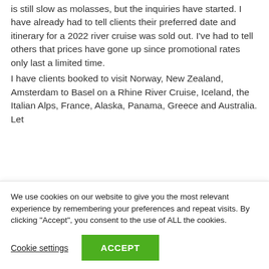is still slow as molasses, but the inquiries have started. I have already had to tell clients their preferred date and itinerary for a 2022 river cruise was sold out. I've had to tell others that prices have gone up since promotional rates only last a limited time.
I have clients booked to visit Norway, New Zealand, Amsterdam to Basel on a Rhine River Cruise, Iceland, the Italian Alps, France, Alaska, Panama, Greece and Australia. Let
We use cookies on our website to give you the most relevant experience by remembering your preferences and repeat visits. By clicking "Accept", you consent to the use of ALL the cookies.
Cookie settings
ACCEPT